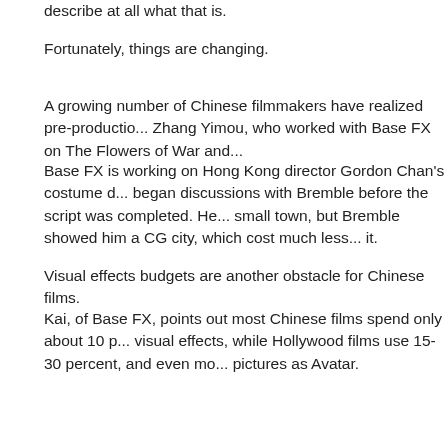describe at all what that is.
Fortunately, things are changing.
A growing number of Chinese filmmakers have realized pre-productio... Zhang Yimou, who worked with Base FX on The Flowers of War and...
Base FX is working on Hong Kong director Gordon Chan's costume d... began discussions with Bremble before the script was completed. He... small town, but Bremble showed him a CG city, which cost much less... it.
Visual effects budgets are another obstacle for Chinese films.
Kai, of Base FX, points out most Chinese films spend only about 10 p... visual effects, while Hollywood films use 15-30 percent, and even mo... pictures as Avatar.
But Chinese filmmakers are starting to spend more on effects, Heinze... already in the scale of what Hollywood would spend on an independe...
Both Pixomondo and Base FX believe China will need real creativity w... advantage disappears. But they're not concerned, they say, as they s... developing.
When Bremble worked on Conan the Barbarian last year, the director... underwater creature that's "dangerous" and "scary". Base FX's visual... packages with different skin, lighting, wetness and color.